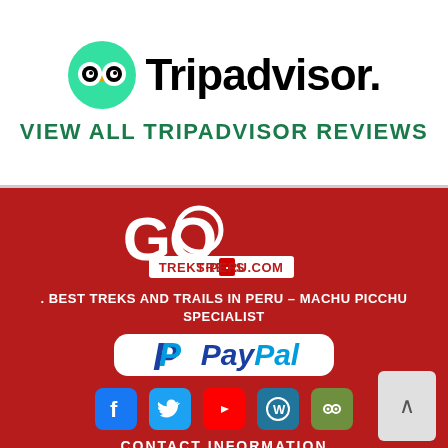[Figure (logo): Tripadvisor logo with owl icon and wordmark]
VIEW ALL TRIPADVISOR REVIEWS
[Figure (logo): Go Treks Peru .com logo in red and white on dark red background]
. BEST TREKS AND TRAILS IN PERU – MACHU PICCHU SPECIALIST
[Figure (logo): PayPal logo in white rounded rectangle]
[Figure (infographic): Social media icons row: Facebook, Twitter, YouTube, WordPress, Tripadvisor]
CONTACT INFORMATION